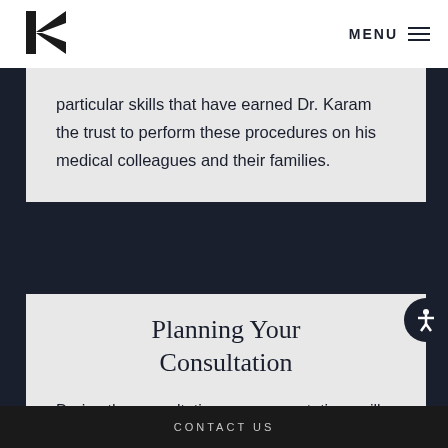[Figure (logo): Black geometric K arrow logo]
MENU
particular skills that have earned Dr. Karam the trust to perform these procedures on his medical colleagues and their families.
Planning Your Consultation
During the consultation, your expectations will be discussed and a personalized treatment plan will be proposed after careful examination and
CONTACT US